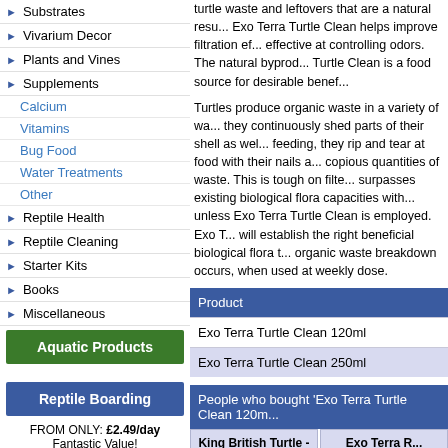Substrates
Vivarium Decor
Plants and Vines
Supplements
Calcium
Vitamins
Bug Food
Water Treatments
Other
Reptile Health
Reptile Cleaning
Starter Kits
Books
Miscellaneous
Aquatic Products
Reptile Boarding
FROM ONLY: £2.49/day
Fantastic Value!

Book now!
turtle waste and leftovers that are a natural resu... Exo Terra Turtle Clean helps improve filtration ef... effective at controlling odors. The natural byprod... Turtle Clean is a food source for desirable benef...
Turtles produce organic waste in a variety of ways, they continuously shed parts of their shell as well... feeding, they rip and tear at food with their nails and... copious quantities of waste. This is tough on filte... surpasses existing biological flora capacities with... unless Exo Terra Turtle Clean is employed. Exo T... will establish the right beneficial biological flora to... organic waste breakdown occurs, when used at weekly dose.
| Product |
| --- |
| Exo Terra Turtle Clean 120ml |
| Exo Terra Turtle Clean 250ml |
People who bought 'Exo Terra Turtle Clean 120m...
King British Turtle - Terrapin Water Freshener 100ml
Exo Terra R...